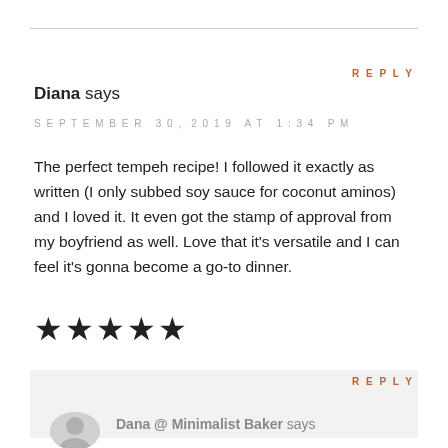REPLY
Diana says
SEPTEMBER 30, 2019 AT 1:34 PM
The perfect tempeh recipe! I followed it exactly as written (I only subbed soy sauce for coconut aminos) and I loved it. It even got the stamp of approval from my boyfriend as well. Love that it's versatile and I can feel it's gonna become a go-to dinner.
[Figure (other): Five filled star rating icons]
REPLY
Dana @ Minimalist Baker says